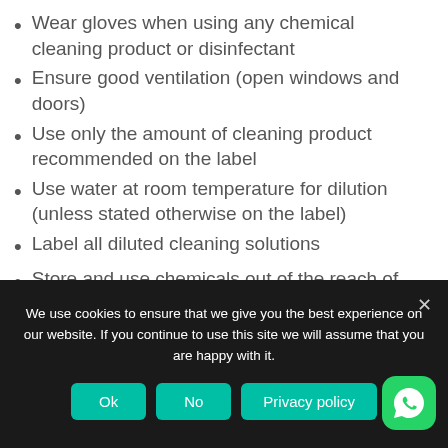Wear gloves when using any chemical cleaning product or disinfectant
Ensure good ventilation (open windows and doors)
Use only the amount of cleaning product recommended on the label
Use water at room temperature for dilution (unless stated otherwise on the label)
Label all diluted cleaning solutions
Store and use chemicals out of the reach of children and pets
Do not mix products or chemicals
Do not eat, drink, or breathe cleaning and disinfection
We use cookies to ensure that we give you the best experience on our website. If you continue to use this site we will assume that you are happy with it.